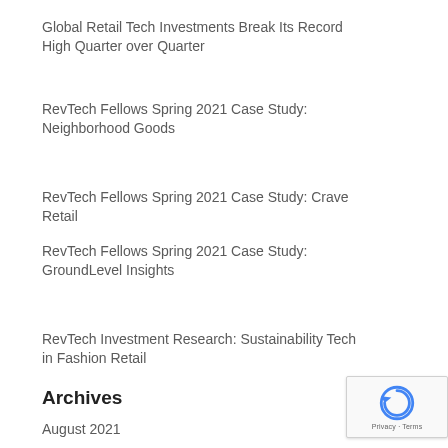Global Retail Tech Investments Break Its Record High Quarter over Quarter
RevTech Fellows Spring 2021 Case Study: Neighborhood Goods
RevTech Fellows Spring 2021 Case Study: Crave Retail
RevTech Fellows Spring 2021 Case Study: GroundLevel Insights
RevTech Investment Research: Sustainability Tech in Fashion Retail
Archives
August 2021
May 2021